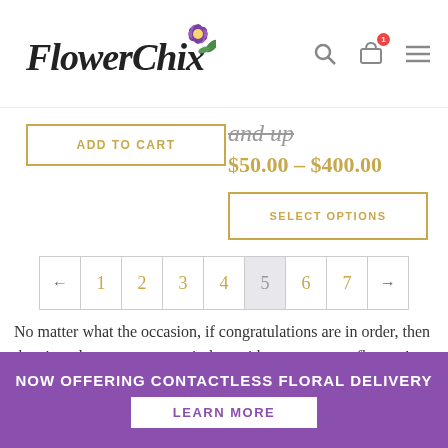[Figure (logo): Flower Chix logo with stylized script text and purple flower illustration]
and up
$50.00 – $400.00
ADD TO CART
SELECT OPTIONS
← 1 2 3 4 5 6 7 →
No matter what the occasion, if congratulations are in order, then there's no better way to say it than with our gorgeous flowers! Tell your loved ones how happy and proud you are of them with our exquisite hand-made bouquets. Whether the occasion calls for a
NOW OFFERING CONTACTLESS FLORAL DELIVERY
LEARN MORE